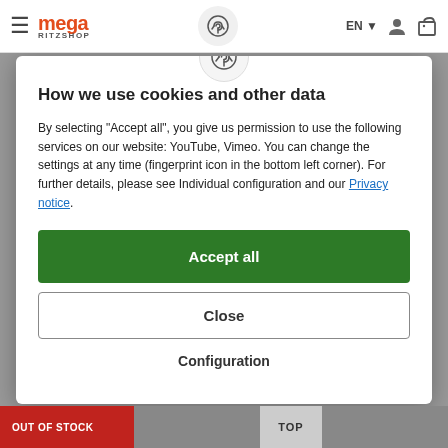[Figure (screenshot): Website navigation bar with hamburger menu, mega RITZSHOP logo in orange-red, fingerprint icon in center, EN language selector, user icon, and cart icon on right]
How we use cookies and other data
By selecting "Accept all", you give us permission to use the following services on our website: YouTube, Vimeo. You can change the settings at any time (fingerprint icon in the bottom left corner). For further details, please see Individual configuration and our Privacy notice.
Accept all
Close
Configuration
OUT OF STOCK
TOP